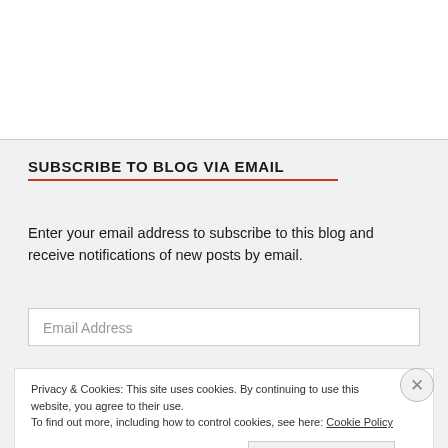SUBSCRIBE TO BLOG VIA EMAIL
Enter your email address to subscribe to this blog and receive notifications of new posts by email.
Email Address
Privacy & Cookies: This site uses cookies. By continuing to use this website, you agree to their use.
To find out more, including how to control cookies, see here: Cookie Policy
Close and accept